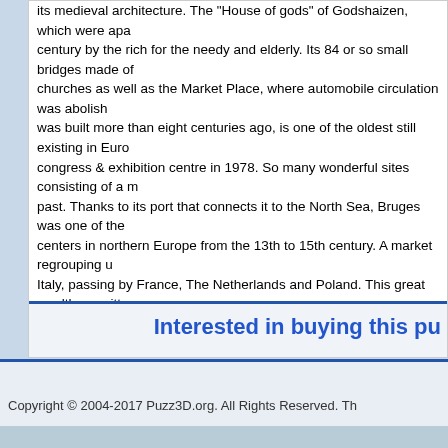its medieval architecture. The "House of gods" of Godshaizen, which were apart century by the rich for the needy and elderly. Its 84 or so small bridges made of churches as well as the Market Place, where automobile circulation was abolish was built more than eight centuries ago, is one of the oldest still existing in Euro congress & exhibition centre in 1978. So many wonderful sites consisting of a m past. Thanks to its port that connects it to the North Sea, Bruges was one of the centers in northern Europe from the 13th to 15th century. A market regrouping u Italy, passing by France, The Netherlands and Poland. This great wealth permitt buildings at the height of medieval times in praise their city. At the beginning of t tracing, Bruges slowly sank into extreme poverty. It is only at the beginning of th created an economic substitutive for itself. It went from an antique medieval mer architectural heritage into which its ancestors had invested. Now instead of bein very well because of its tourist trade. Whether it is a good or bad year, it attracts corners of the world. Bruges is a city that is lovely to visit whatever the season, a reasons are good for a visit: the innumerable pictorial masterpieces of the primi purchase magnificent lace or to taste in situ, the "Blanche de Bruges", a famous throughout the world.
Interested in buying this pu
See if it's available.
Copyright © 2004-2017 Puzz3D.org. All Rights Reserved. Th